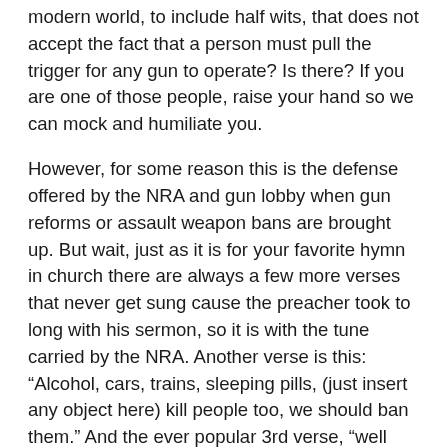modern world, to include half wits, that does not accept the fact that a person must pull the trigger for any gun to operate?  Is there?  If you are one of those people, raise your hand so we can mock and humiliate you.
However, for some reason this is the defense offered by the NRA and gun lobby when gun reforms or assault weapon bans are brought up.  But wait, just as it is for your favorite hymn in church there are always a few more verses that never get sung cause the preacher took to long with his sermon, so it is with the tune carried by the NRA.  Another verse is this: “Alcohol, cars, trains, sleeping pills, (just insert any object here) kill people too, we should ban them.”  And the ever popular 3rd verse, “well then brushes painted the picture, not Picasso, pencils wrote the sonnets, not Shakespeare.”
It is in practice a question on... First, fall, someone, point, K t...